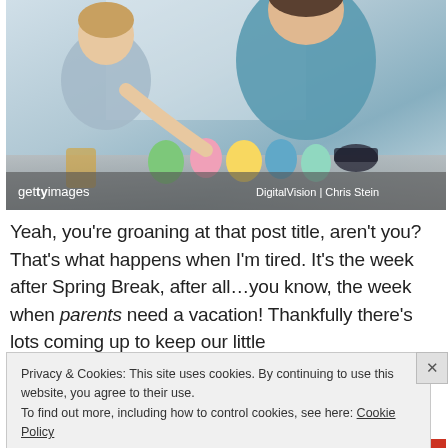[Figure (photo): Two children laughing and decorating Easter eggs at a table. A girl in a blue striped shirt and a boy in a teal shirt are coloring eggs with dye. Colorful eggs in pink, green, yellow, blue, and mint are visible on the table. Getty Images watermark visible with credit: DigitalVision | Chris Stein.]
Yeah, you’re groaning at that post title, aren’t you? That’s what happens when I’m tired. It’s the week after Spring Break, after all…you know, the week when parents need a vacation! Thankfully there’s lots coming up to keep our little
Privacy & Cookies: This site uses cookies. By continuing to use this website, you agree to their use.
To find out more, including how to control cookies, see here: Cookie Policy

Close and accept